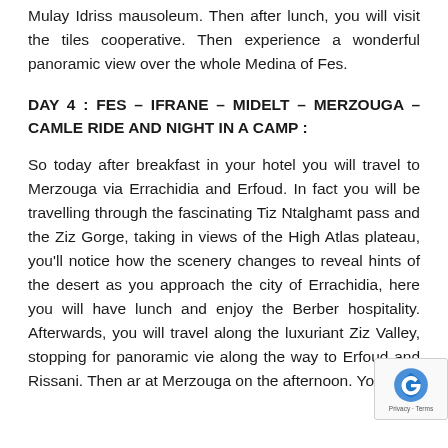Mulay Idriss mausoleum. Then after lunch, you will visit the tiles cooperative. Then experience a wonderful panoramic view over the whole Medina of Fes.
DAY 4 : FES – IFRANE – MIDELT – MERZOUGA – CAMLE RIDE AND NIGHT IN A CAMP :
So today after breakfast in your hotel you will travel to Merzouga via Errachidia and Erfoud. In fact you will be travelling through the fascinating Tiz Ntalghamt pass and the Ziz Gorge, taking in views of the High Atlas plateau, you'll notice how the scenery changes to reveal hints of the desert as you approach the city of Errachidia, here you will have lunch and enjoy the Berber hospitality. Afterwards, you will travel along the luxuriant Ziz Valley, stopping for panoramic vie along the way to Erfoud and Rissani. Then ar at Merzouga on the afternoon. You'll be